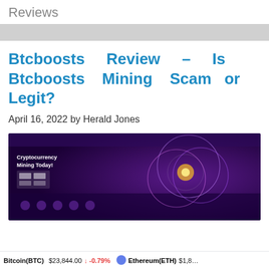Reviews
Btcboosts Review – Is Btcboosts Mining Scam or Legit?
April 16, 2022 by Herald Jones
[Figure (screenshot): Screenshot of the Btcboosts website homepage showing a purple/dark background with the text 'Cryptocurrency Mining Today!' and circular graphic elements on the right side]
Bitcoin(BTC) $23,844.00 ↓ -0.79%   Ethereum(ETH) $1,8...